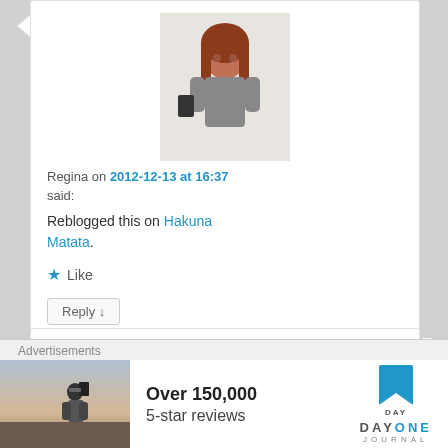[Figure (photo): Avatar photo of Regina — woman with red hair holding phone]
Regina on 2012-12-13 at 16:37
said:
Reblogged this on Hakuna Matata.
Like
Reply ↓
[Figure (photo): Second commenter avatar — couple kissing (Dirty Dancing style)]
Advertisements
[Figure (photo): Advertisement image — person taking photo outdoors]
Over 150,000
5-star reviews
[Figure (logo): Day One Journal logo — blue bookmark icon with DAY ONE JOURNAL text]